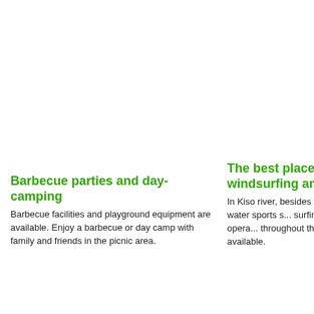Barbecue parties and day-camping
Barbecue facilities and playground equipment are available. Enjoy a barbecue or day camp with family and friends in the picnic area.
The best place fo... windsurfing and s...
In Kiso river, besides the... can enjoy water sports s... surfing (not motor-opera... throughout the year. Ou... are available.